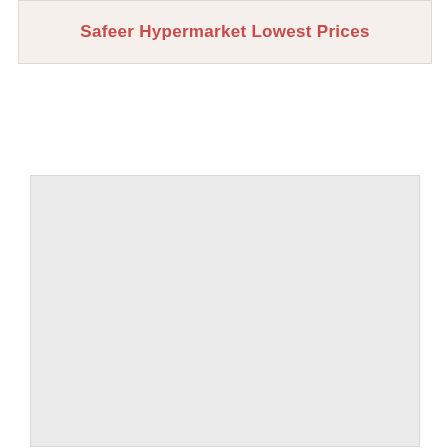Safeer Hypermarket Lowest Prices
[Figure (other): Empty light grey rectangular placeholder box]